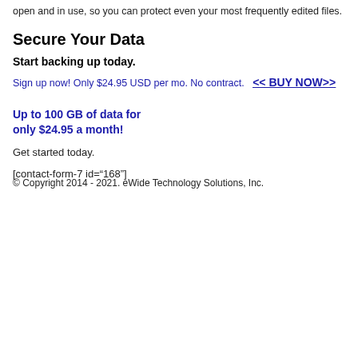open and in use, so you can protect even your most frequently edited files.
Secure Your Data
Start backing up today.
Sign up now! Only $24.95 USD per mo. No contract.   << BUY NOW>>
Up to 100 GB of data for only $24.95 a month!
Get started today.
[contact-form-7 id="168"]
© Copyright 2014 - 2021. eWide Technology Solutions, Inc.